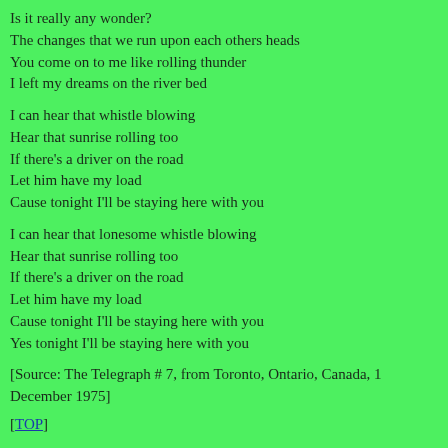Is it really any wonder?
The changes that we run upon each others heads
You come on to me like rolling thunder
I left my dreams on the river bed
I can hear that whistle blowing
Hear that sunrise rolling too
If there's a driver on the road
Let him have my load
Cause tonight I'll be staying here with you
I can hear that lonesome whistle blowing
Hear that sunrise rolling too
If there's a driver on the road
Let him have my load
Cause tonight I'll be staying here with you
Yes tonight I'll be staying here with you
[Source: The Telegraph # 7, from Toronto, Ontario, Canada, 1 December 1975]
[TOP]
This page last updated 20 May 2001.